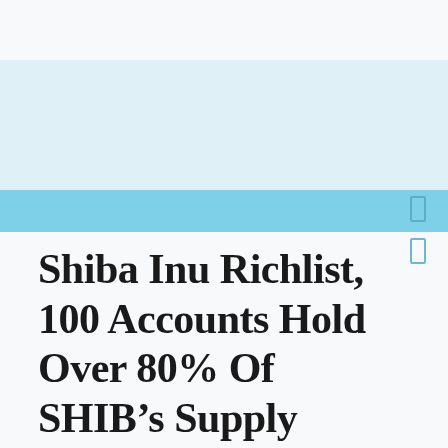[Figure (other): Website header banner with light blue background area and a darker blue horizontal stripe below it, with scroll indicator icons on the right side]
Shiba Inu Richlist, 100 Accounts Hold Over 80% Of SHIB’s Supply
November 9, 2021  –  Paul Brabus